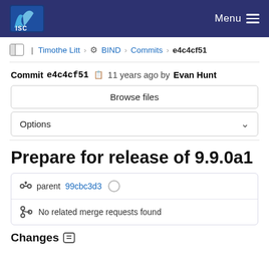ISC — Menu
Timothe Litt > BIND > Commits > e4c4cf51
Commit e4c4cf51  11 years ago by Evan Hunt
Browse files
Options
Prepare for release of 9.9.0a1
parent 99cbc3d3
No related merge requests found
Changes